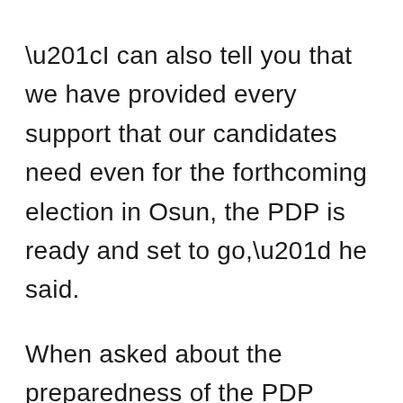“I can also tell you that we have provided every support that our candidates need even for the forthcoming election in Osun, the PDP is ready and set to go,” he said.
When asked about the preparedness of the PDP governorship candidate, Ologunagba stated that Adeleke is equally preparing for the task ahead.